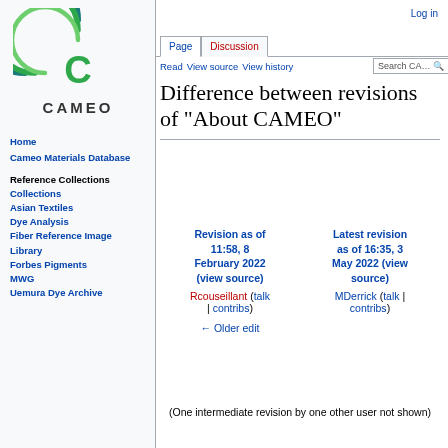[Figure (logo): CAMEO circular logo with green concentric arcs and letter C, with CAMEO text below]
Home
Cameo Materials Database
Reference Collections
Collections
Asian Textiles
Dye Analysis
Fiber Reference Image Library
Forbes Pigments
MWG
Uemura Dye Archive
Log in
Difference between revisions of "About CAMEO"
| Revision as of 11:58, 8 February 2022 (view source) | Latest revision as of 16:35, 3 May 2022 (view source) |
| --- | --- |
| Rcouseillant (talk | contribs) | MDerrick (talk | contribs) |
| ← Older edit |  |
(One intermediate revision by one other user not shown)